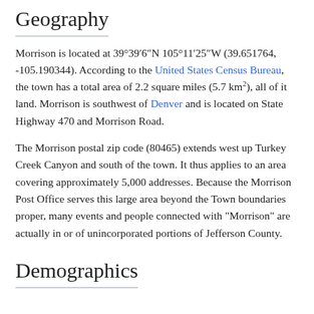Geography
Morrison is located at 39°39′6″N 105°11′25″W (39.651764, -105.190344). According to the United States Census Bureau, the town has a total area of 2.2 square miles (5.7 km²), all of it land. Morrison is southwest of Denver and is located on State Highway 470 and Morrison Road.
The Morrison postal zip code (80465) extends west up Turkey Creek Canyon and south of the town. It thus applies to an area covering approximately 5,000 addresses. Because the Morrison Post Office serves this large area beyond the Town boundaries proper, many events and people connected with "Morrison" are actually in or of unincorporated portions of Jefferson County.
Demographics